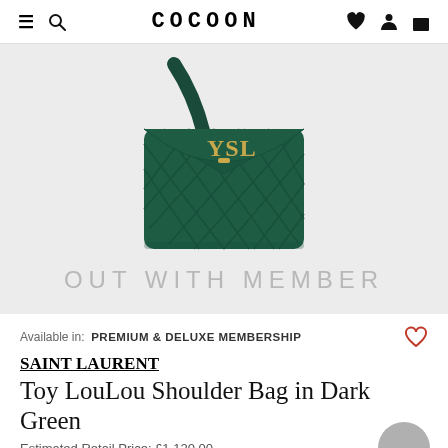COCOON
[Figure (photo): Dark green quilted leather Saint Laurent Toy LouLou shoulder bag with gold YSL logo clasp and diagonal strap, photographed on a light grey background. Text overlay reads 'OUT WITH MEMBER'.]
Available in: PREMIUM & DELUXE MEMBERSHIP
SAINT LAURENT
Toy LouLou Shoulder Bag in Dark Green
Estimated Retail Price: £1,120.00